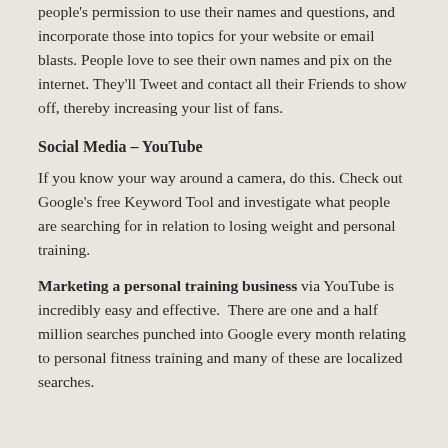people's permission to use their names and questions, and incorporate those into topics for your website or email blasts. People love to see their own names and pix on the internet. They'll Tweet and contact all their Friends to show off, thereby increasing your list of fans.
Social Media – YouTube
If you know your way around a camera, do this. Check out Google's free Keyword Tool and investigate what people are searching for in relation to losing weight and personal training.
Marketing a personal training business via YouTube is incredibly easy and effective.  There are one and a half million searches punched into Google every month relating to personal fitness training and many of these are localized searches.